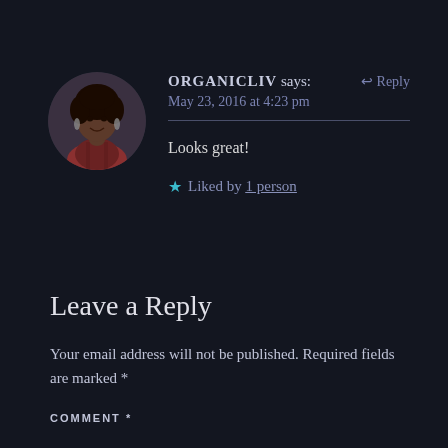[Figure (photo): Circular avatar photo of a young woman with natural hair, wearing a plaid shirt, smiling. Dark background.]
ORGANICLIV says:
↩ Reply
May 23, 2016 at 4:23 pm
Looks great!
★ Liked by 1 person
Leave a Reply
Your email address will not be published. Required fields are marked *
COMMENT *